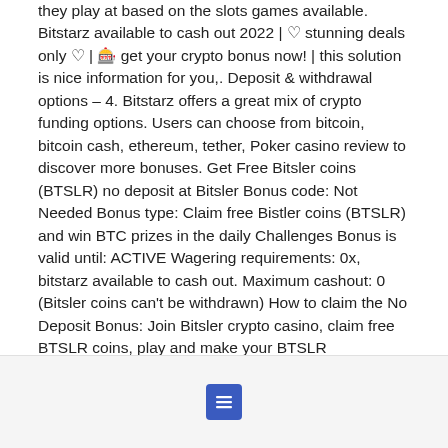they play at based on the slots games available. Bitstarz available to cash out 2022 | ♡ stunning deals only ♡ | 🎰 get your crypto bonus now! | this solution is nice information for you,. Deposit &amp; withdrawal options – 4. Bitstarz offers a great mix of crypto funding options. Users can choose from bitcoin, bitcoin cash, ethereum, tether, Poker casino review to discover more bonuses. Get Free Bitsler coins (BTSLR) no deposit at Bitsler Bonus code: Not Needed Bonus type: Claim free Bistler coins (BTSLR) and win BTC prizes in the daily Challenges Bonus is valid until: ACTIVE Wagering requirements: 0x, bitstarz available to cash out. Maximum cashout: 0 (Bitsler coins can't be withdrawn) How to claim the No Deposit Bonus: Join Bitsler crypto casino, claim free BTSLR coins, play and make your BTSLR
[Figure (other): A blue rounded square button containing a white menu/list icon (three horizontal lines with dots), centered in a light gray footer bar.]